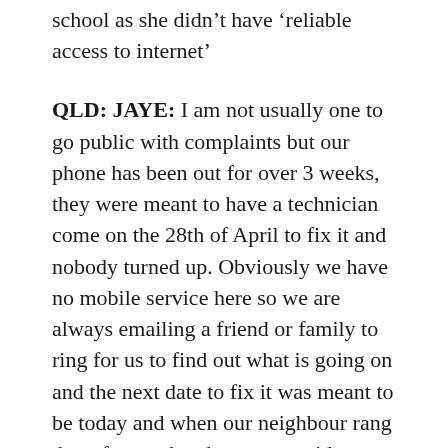school as she didn't have 'reliable access to internet'
QLD: JAYE: I am not usually one to go public with complaints but our phone has been out for over 3 weeks, they were meant to have a technician come on the 28th of April to fix it and nobody turned up. Obviously we have no mobile service here so we are always emailing a friend or family to ring for us to find out what is going on and the next date to fix it was meant to be today and when our neighbour rang them for us, they have now said a technician might be out on the 20th of May. Our kids need the phone to do school of the air and we bend over backwards out here to get